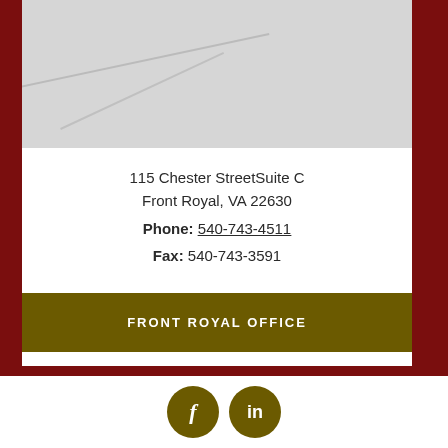[Figure (map): Grayscale map screenshot showing street layout]
115 Chester StreetSuite C
Front Royal, VA 22630
Phone: 540-743-4511
Fax: 540-743-3591
FRONT ROYAL OFFICE
[Figure (other): Social media icons: Facebook (f) and LinkedIn (in) circles in olive/brown color]